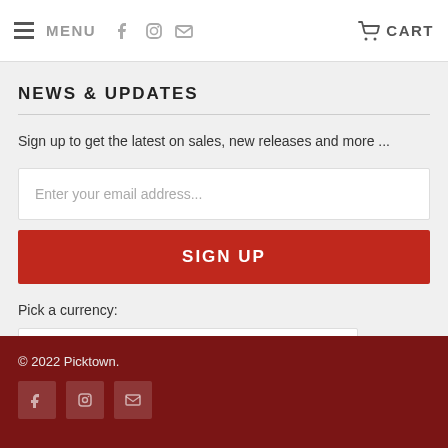MENU   CART
NEWS & UPDATES
Sign up to get the latest on sales, new releases and more ...
Enter your email address...
SIGN UP
Pick a currency:
GBP
© 2022 Picktown.